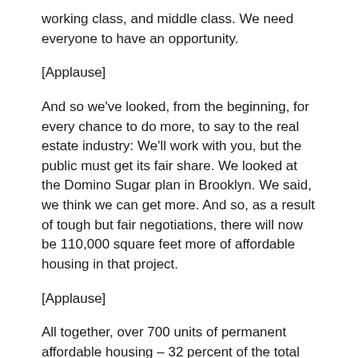working class, and middle class. We need everyone to have an opportunity.
[Applause]
And so we've looked, from the beginning, for every chance to do more, to say to the real estate industry: We'll work with you, but the public must get its fair share. We looked at the Domino Sugar plan in Brooklyn. We said, we think we can get more. And so, as a result of tough but fair negotiations, there will now be 110,000 square feet more of affordable housing in that project.
[Applause]
All together, over 700 units of permanent affordable housing – 32 percent of the total units in that project – will be affordable.